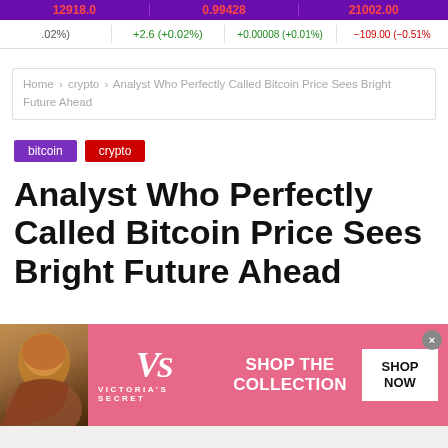12918.0  +2.6 (+0.02%)   0.99428 +0.00008 (+0.01%)   21002.00 −109.00 (−0.51%)
Home › crypto › Analyst Who Perfectly Called Bitcoin Price Sees Bright Future Ahead
bitcoin
crypto
Analyst Who Perfectly Called Bitcoin Price Sees Bright Future Ahead
[Figure (photo): Victoria's Secret advertisement banner with woman model, VS logo, 'SHOP THE COLLECTION' text, and 'SHOP NOW' button on pink background]